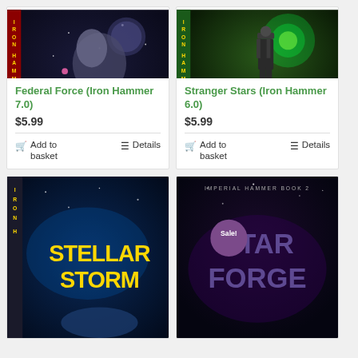[Figure (illustration): Book cover: Federal Force (Iron Hammer 7.0) by Cameron Cooper. Dark sci-fi cover with wolf and warrior figure against space background.]
Federal Force (Iron Hammer 7.0)
$5.99
Add to basket
Details
[Figure (illustration): Book cover: Stranger Stars (Iron Hammer 6.0) by Cameron Cooper. Sci-fi cover with warrior figure against green glowing background.]
Stranger Stars (Iron Hammer 6.0)
$5.99
Add to basket
Details
[Figure (illustration): Book cover: Stellar Storm by Cameron Cooper. Blue sci-fi cover with large yellow title text.]
[Figure (illustration): Book cover: Star Forge (Imperial Hammer Book 2) by Cameron Cooper. Sci-fi cover with Sale! badge overlay.]